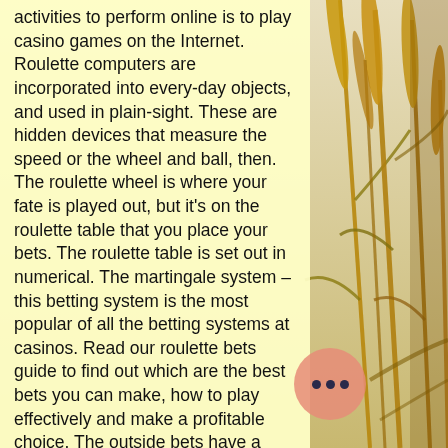activities to perform online is to play casino games on the Internet. Roulette computers are incorporated into every-day objects, and used in plain-sight. These are hidden devices that measure the speed or the wheel and ball, then. The roulette wheel is where your fate is played out, but it's on the roulette table that you place your bets. The roulette table is set out in numerical. The martingale system – this betting system is the most popular of all the betting systems at casinos. Read our roulette bets guide to find out which are the best bets you can make, how to play effectively and make a profitable choice. The outside bets have a designated table space where you can place your chip as well. In the game, a player may choose to place a bet on a single number, various groupings of numbers, the color red or black, wheth... number is odd or even, or. #1 there are lucky
[Figure (photo): Background photo of golden wheat or rice stalks/plants on the right side of the page]